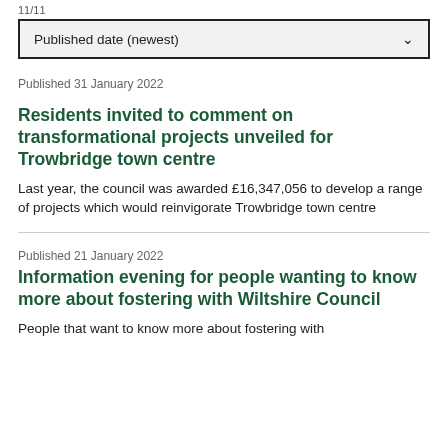Published date (newest)
Published 31 January 2022
Residents invited to comment on transformational projects unveiled for Trowbridge town centre
Last year, the council was awarded £16,347,056 to develop a range of projects which would reinvigorate Trowbridge town centre
Published 21 January 2022
Information evening for people wanting to know more about fostering with Wiltshire Council
People that want to know more about fostering with